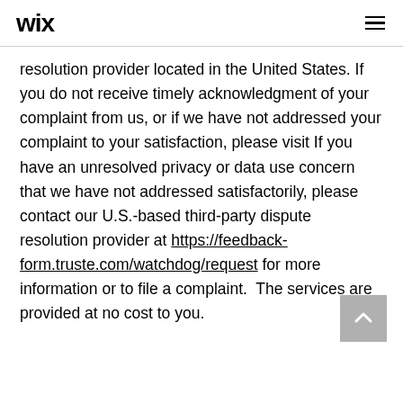wix ≡
resolution provider located in the United States. If you do not receive timely acknowledgment of your complaint from us, or if we have not addressed your complaint to your satisfaction, please visit If you have an unresolved privacy or data use concern that we have not addressed satisfactorily, please contact our U.S.-based third-party dispute resolution provider at https://feedback-form.truste.com/watchdog/request for more information or to file a complaint.  The services are provided at no cost to you.